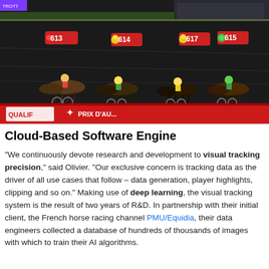[Figure (screenshot): Horse racing video screenshot with AI tracking overlays. Several horses with sulkies race on a dark track. Numbered tracking labels are visible above horses: red label '613', yellow label '614', yellow label '617', green label '615'. A red advertising board reads 'QUALIF' and 'PRIX D'...' at the bottom of the scene.]
Cloud-Based Software Engine
"We continuously devote research and development to visual tracking precision," said Olivier. "Our exclusive concern is tracking data as the driver of all use cases that follow – data generation, player highlights, clipping and so on." Making use of deep learning, the visual tracking system is the result of two years of R&D. In partnership with their initial client, the French horse racing channel PMU/Equidia, their data engineers collected a database of hundreds of thousands of images with which to train their AI algorithms.